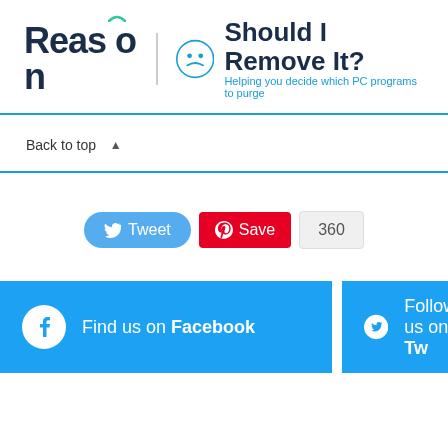[Figure (logo): Reason logo and Should I Remove It? logo with tagline 'Helping you decide which PC programs to purge']
Back to top ▲
[Figure (infographic): Tweet button, Pinterest Save button with count 360]
[Figure (infographic): Find us on Facebook banner and Follow us on Twitter banner]